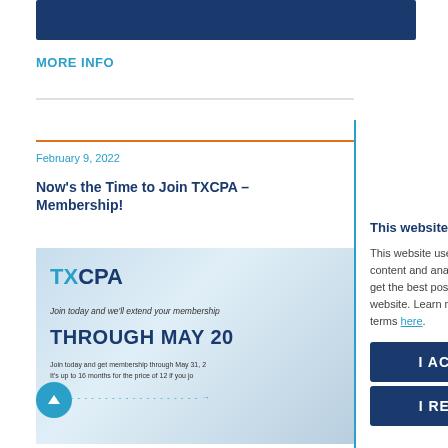[Figure (other): Dark blue horizontal banner/header bar]
MORE INFO
February 9, 2022
Now's the Time to Join TXCPA – Membership!
[Figure (photo): TXCPA promotional banner image showing 'Join today and we'll extend your membership THROUGH MAY 20' with small text about 16 months for the price of 12, and a dashed arrow at the bottom.]
This website uses cookies
This website uses cookies to personalize content and analyze traffic to ensure you get the best possible experience on this website. Learn more about cookies and our terms here.
I ACCEPT
I REFUSE